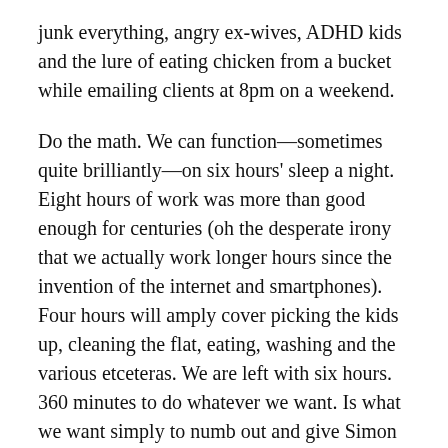junk everything, angry ex-wives, ADHD kids and the lure of eating chicken from a bucket while emailing clients at 8pm on a weekend.
Do the math. We can function—sometimes quite brilliantly—on six hours' sleep a night. Eight hours of work was more than good enough for centuries (oh the desperate irony that we actually work longer hours since the invention of the internet and smartphones). Four hours will amply cover picking the kids up, cleaning the flat, eating, washing and the various etceteras. We are left with six hours. 360 minutes to do whatever we want. Is what we want simply to numb out and give Simon Cowell even more money? To scroll through Twitter and Facebook looking for romance, bromance, cats, weather reports, obituaries and gossip? To get nostalgically, painfully drunk in a pub where you can't even smoke?